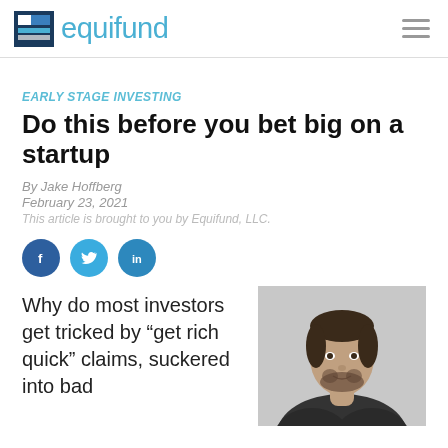equifund
EARLY STAGE INVESTING
Do this before you bet big on a startup
By Jake Hoffberg
February 23, 2021
This article is brought to you by Equifund, LLC.
[Figure (infographic): Social share icons: Facebook, Twitter, LinkedIn]
Why do most investors get tricked by “get rich quick” claims, suckered into bad
[Figure (photo): Black and white portrait photo of a man with short dark hair and beard wearing a suit]